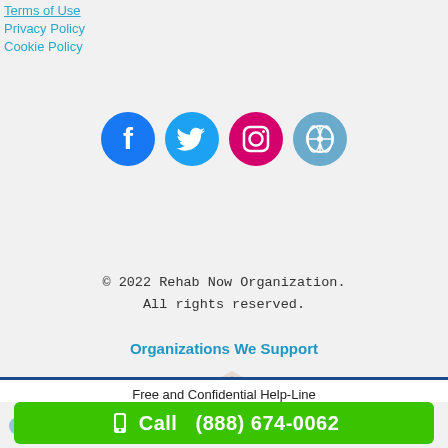Terms of Use
Privacy Policy
Cookie Policy
[Figure (logo): Social media icons: Facebook (blue circle), Twitter (blue circle), Instagram (pink circle), WordPress (blue circle)]
© 2022 Rehab Now Organization.
All rights reserved.
Organizations We Support
[Figure (logo): National Council for Behavioral Health logo and National Association of Addiction Treatment Providers logo side by side]
[Figure (logo): LegitScript logo and SAMHSA (Substance Abuse and Mental Health Services Administration) logo side by side]
Free and Confidential Help-Line
Call  (888) 674-0062